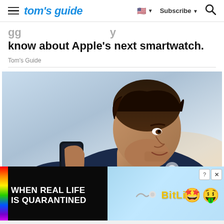tom's guide — Subscribe — Search
know about Apple's next smartwatch.
Tom's Guide
[Figure (photo): Man in blue t-shirt looking at a smartphone, photographed in profile against a blurred outdoor sky background.]
[Figure (screenshot): Advertisement banner: 'WHEN REAL LIFE IS QUARANTINED' with rainbow stripe on left, BitLife game logo in yellow on blue background with emoji characters on right, close button in top right corner.]